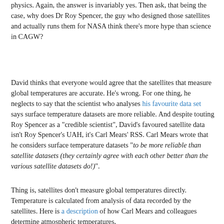physics. Again, the answer is invariably yes. Then ask, that being the case, why does Dr Roy Spencer, the guy who designed those satellites and actually runs them for NASA think there's more hype than science in CAGW?
David thinks that everyone would agree that the satellites that measure global temperatures are accurate. He's wrong. For one thing, he neglects to say that the scientist who analyses his favourite data set says surface temperature datasets are more reliable. And despite touting Roy Spencer as a "credible scientist", David's favoured satellite data isn't Roy Spencer's UAH, it's Carl Mears' RSS. Carl Mears wrote that he considers surface temperature datasets "to be more reliable than satellite datasets (they certainly agree with each other better than the various satellite datasets do!)".
Thing is, satellites don't measure global temperatures directly. Temperature is calculated from analysis of data recorded by the satellites. Here is a description of how Carl Mears and colleagues determine atmospheric temperatures,